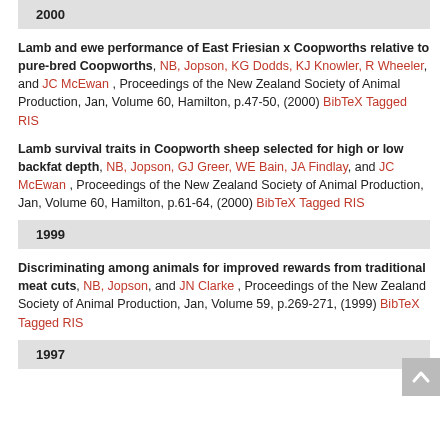2000
Lamb and ewe performance of East Friesian x Coopworths relative to pure-bred Coopworths, NB, Jopson, KG Dodds, KJ Knowler, R Wheeler, and JC McEwan , Proceedings of the New Zealand Society of Animal Production, Jan, Volume 60, Hamilton, p.47-50, (2000) BibTeX Tagged RIS
Lamb survival traits in Coopworth sheep selected for high or low backfat depth, NB, Jopson, GJ Greer, WE Bain, JA Findlay, and JC McEwan , Proceedings of the New Zealand Society of Animal Production, Jan, Volume 60, Hamilton, p.61-64, (2000) BibTeX Tagged RIS
1999
Discriminating among animals for improved rewards from traditional meat cuts, NB, Jopson, and JN Clarke , Proceedings of the New Zealand Society of Animal Production, Jan, Volume 59, p.269-271, (1999) BibTeX Tagged RIS
1997